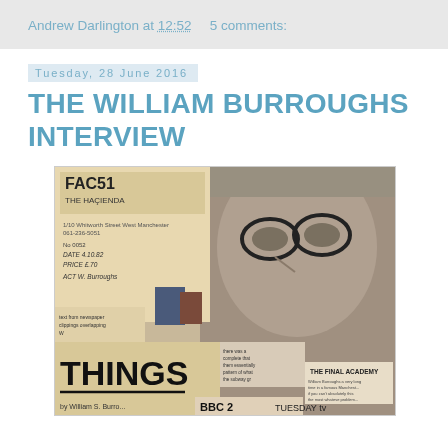Andrew Darlington at 12:52   5 comments:
Tuesday, 28 June 2016
THE WILLIAM BURROUGHS INTERVIEW
[Figure (photo): Collage image featuring FAC51 The Hacienda documents, a close-up photo of William S. Burroughs wearing glasses, text reading 'THINGS' and 'by William S. Burroughs', BBC 2 text, and 'THE FINAL ACADEMY' text clippings]